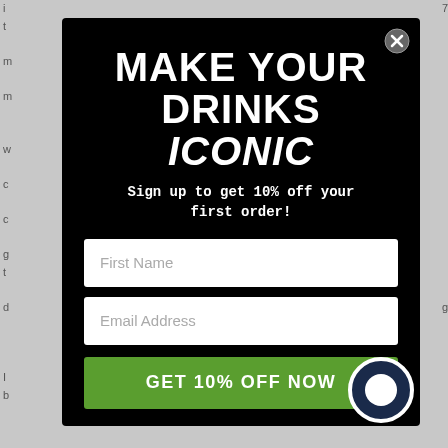[Figure (screenshot): Marketing popup/modal overlay on a dark background with headline 'MAKE YOUR DRINKS ICONIC', subtitle 'Sign up to get 10% off your first order!', two input fields (First Name, Email Address), a green CTA button 'GET 10% OFF NOW', and a close button (X) in the top right corner. A chat bubble icon appears in the bottom right.]
MAKE YOUR DRINKS ICONIC
Sign up to get 10% off your first order!
First Name
Email Address
GET 10% OFF NOW